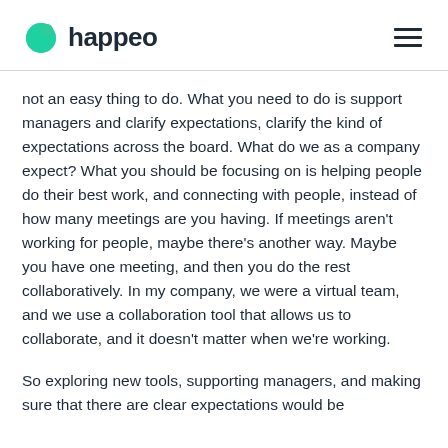happeo
not an easy thing to do. What you need to do is support managers and clarify expectations, clarify the kind of expectations across the board. What do we as a company expect? What you should be focusing on is helping people do their best work, and connecting with people, instead of how many meetings are you having. If meetings aren't working for people, maybe there's another way. Maybe you have one meeting, and then you do the rest collaboratively. In my company, we were a virtual team, and we use a collaboration tool that allows us to collaborate, and it doesn't matter when we're working.
So exploring new tools, supporting managers, and making sure that there are clear expectations would be